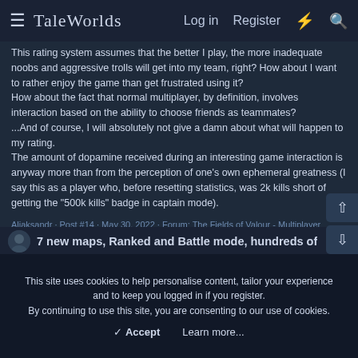TaleWorlds  Log in  Register
This rating system assumes that the better I play, the more inadequate noobs and aggressive trolls will get into my team, right? How about I want to rather enjoy the game than get frustrated using it?
How about the fact that normal multiplayer, by definition, involves interaction based on the ability to choose friends as teammates?
...And of course, I will absolutely not give a damn about what will happen to my rating.
The amount of dopamine received during an interesting game interaction is anyway more than from the perception of one's own ephemeral greatness (I say this as a player who, before resetting statistics, was 2k kills short of getting the "500k kills" badge in captain mode).
Aliaksandr · Post #14 · May 30, 2022 · Forum: The Fields of Valour - Multiplayer
7 new maps, Ranked and Battle mode, hundreds of
This site uses cookies to help personalise content, tailor your experience and to keep you logged in if you register.
By continuing to use this site, you are consenting to our use of cookies.
✓ Accept    Learn more...